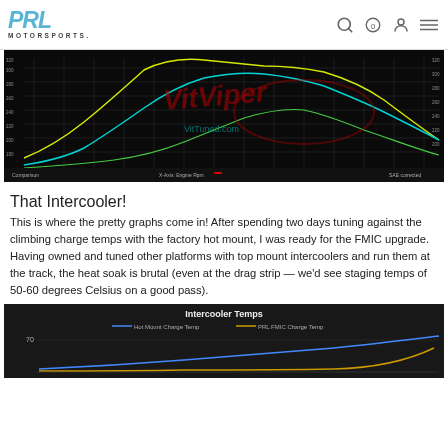PRL MOTORSPORTS
[Figure (continuous-plot): Dyno comparison chart on black background showing HP and torque curves vs Engine RPM. Multiple colored curves (yellow, cyan, green) labeled as Comparison with X-Axis: Engine RPM. Watermark reads VitViper / VitTuned.com in red.]
That Intercooler!
This is where the pretty graphs come in! After spending two days tuning against the climbing charge temps with the factory hot mount, I was ready for the FMIC upgrade. Having owned and tuned other platforms with top mount intercoolers and run them at the track, the heat soak is brutal (even at the drag strip — we'd see staging temps of 50-60 degrees Celsius on a good pass).
[Figure (line-chart): Intercooler Temps chart on dark background showing two lines: Hot Mount Charge Temp (blue) and PRL FMIC Charge Temp (orange/gold). Y-axis shows temperature around 70. Chart title: Intercooler Temps.]